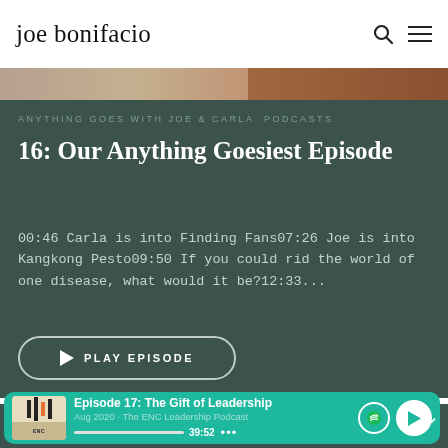joe bonifacio
ANYTHING GOES WITH JOE & CARLA  PODCASTS
16: Our Anything Goesiest Episode
00:46 Carla is into Finding Fans07:26 Joe is into Kangkong Pesto09:50 If you could rid the world of one disease, what would it be?12:33...
PLAY EPISODE
[Figure (screenshot): Spotify player bar showing Episode 17: The Gift of Leadership, Aug 2020 · The ENC Leadership Podcast, duration 39:52]
EPISODE 31